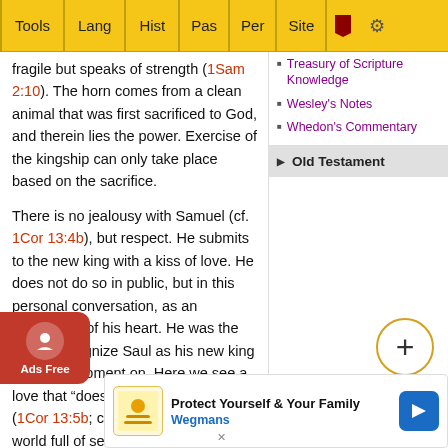Tools | Lang | Hist | Pas | Per | Site
fragile but speaks of strength (1Sam 2:10). The horn comes from a clean animal that was first sacrificed to God, and therein lies the power. Exercise of the kingship can only take place based on the sacrifice.
Treasury of Scripture Knowledge
Wesley's Notes
Whedon's Commentary
Old Testament
There is no jealousy with Samuel (cf. 1Cor 13:4b), but respect. He submits to the new king with a kiss of love. He does not do so in public, but in this personal conversation, as an expression of his heart. He was the first to recognize Saul as his new king from that moment on. Here we see a love that “does not seek its own” (1Cor 13:5b; cf. 1Cor 10:24). In a world full of selfishness, the joy of another person’s prosperity, for example the promotion of a colleague, is rare.
Samuel... making over t... t mean...